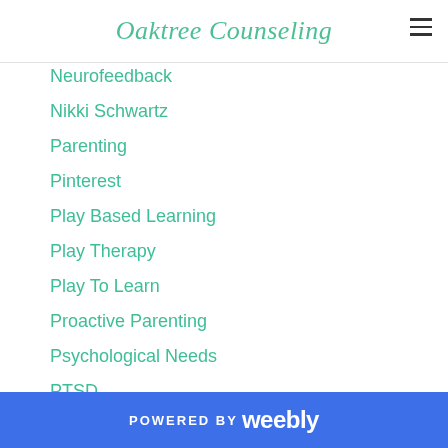Oaktree Counseling
Neurofeedback
Nikki Schwartz
Parenting
Pinterest
Play Based Learning
Play Therapy
Play To Learn
Proactive Parenting
Psychological Needs
PTSD
Self Care
Sensory Friendly
Virginia Beach
POWERED BY weebly